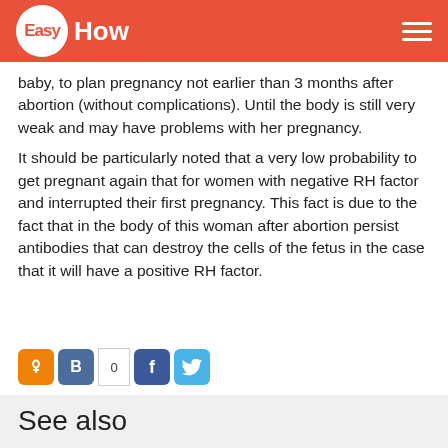Easy How
baby, to plan pregnancy not earlier than 3 months after abortion (without complications). Until the body is still very weak and may have problems with her pregnancy.
It should be particularly noted that a very low probability to get pregnant again that for women with negative RH factor and interrupted their first pregnancy. This fact is due to the fact that in the body of this woman after abortion persist antibodies that can destroy the cells of the fetus in the case that it will have a positive RH factor.
[Figure (other): Social share buttons: Odnoklassniki (orange), VKontakte (dark blue), count badge showing 0, Facebook (blue), Twitter (light blue)]
See also